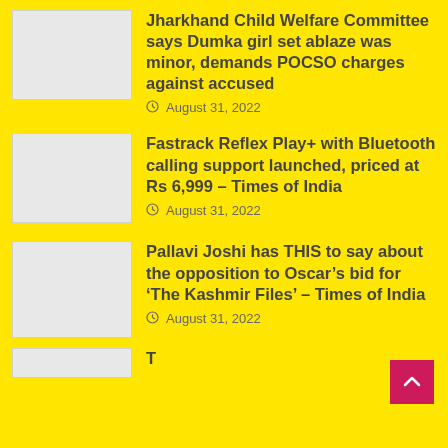Jharkhand Child Welfare Committee says Dumka girl set ablaze was minor, demands POCSO charges against accused
August 31, 2022
Fastrack Reflex Play+ with Bluetooth calling support launched, priced at Rs 6,999 – Times of India
August 31, 2022
Pallavi Joshi has THIS to say about the opposition to Oscar’s bid for ‘The Kashmir Files’ – Times of India
August 31, 2022